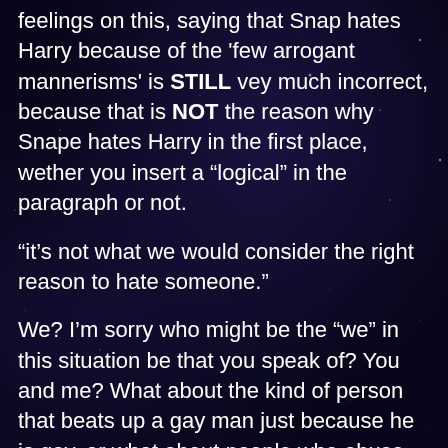feelings on this, saying that Snap hates Harry because of the 'few arrogant mannerisms' is STILL vey much incorrect, because that is NOT the reason why Snape hates Harry in the first place, wether you insert a "logical" in the paragraph or not.
“it’s not what we would consider the right reason to hate someone.”
We? I’m sorry who might be the “we” in this situation be that you speak of? You and me? What about the kind of person that beats up a gay man just because he is gay, or what about people who abuse children and animals for fun? – would they think the reason to be a just one or not? Just because something is immoral, doesn’t mean